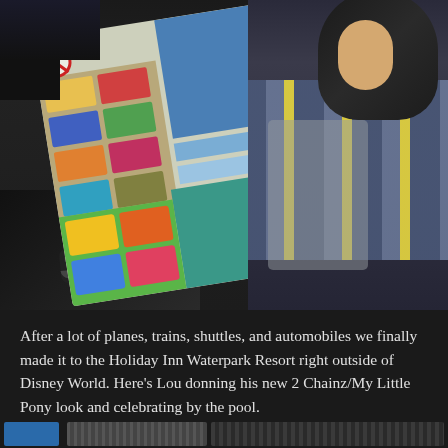[Figure (photo): A child on an airplane holding up an airline safety card, examining it. The child is wearing a blue and grey striped sweater. The safety card shows colorful illustrations typical of airline safety information cards.]
After a lot of planes, trains, shuttles, and automobiles we finally made it to the Holiday Inn Waterpark Resort right outside of Disney World. Here’s Lou donning his new 2 Chainz/My Little Pony look and celebrating by the pool.
[Figure (photo): Partial view of another photo at the bottom of the page, appears to show a poolside or outdoor scene, partially cropped.]